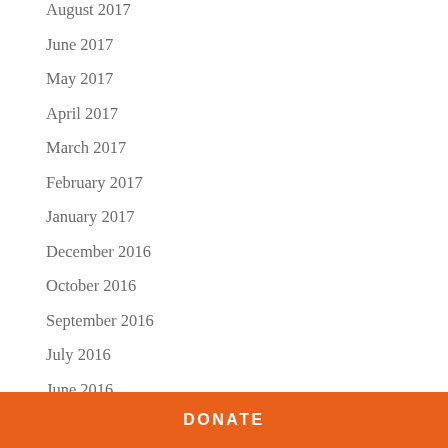August 2017
June 2017
May 2017
April 2017
March 2017
February 2017
January 2017
December 2016
October 2016
September 2016
July 2016
June 2016
DONATE